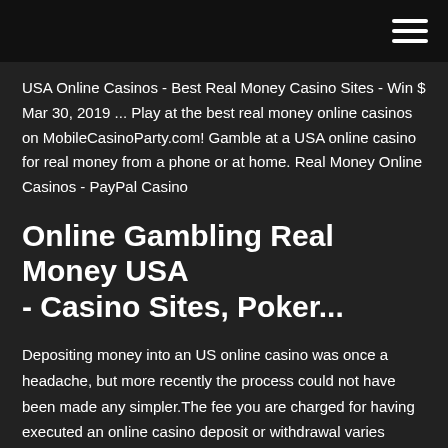hamburger menu icon
USA Online Casinos - Best Real Money Casino Sites - Win $ Mar 30, 2019 ... Play at the best real money online casinos on MobileCasinoParty.com! Gamble at a USA online casino for real money from a phone or at home. Real Money Online Casinos - PayPal Casino
Online Gambling Real Money USA - Casino Sites, Poker...
Depositing money into an US online casino was once a headache, but more recently the process could not have been made any simpler.The fee you are charged for having executed an online casino deposit or withdrawal varies from site to site and from payment method to payment